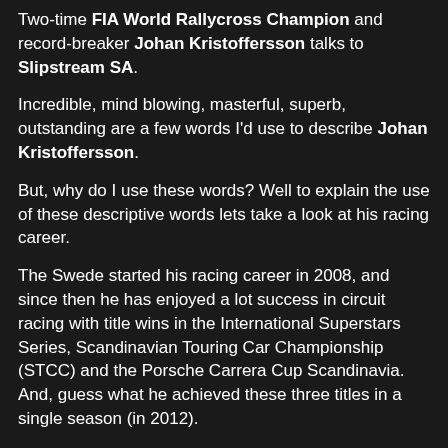Two-time FIA World Rallycross Champion and record-breaker Johan Kristoffersson talks to Slipstream SA.
Incredible, mind blowing, masterful, superb, outstanding are a few words I'd use to describe Johan Kristoffersson.
But, why do I use these words? Well to explain the use of these descriptive words lets take a look at his racing career.
The Swede started his racing career in 2008, and since then he has enjoyed a lot success in circuit racing with title wins in the International Superstars Series, Scandinavian Touring Car Championship (STCC) and the Porsche Carrera Cup Scandinavia. And, guess what he achieved these three titles in a single season (in 2012).
Kristoffersson made his Rallycross debut in 2013, in the FIA European Rallycross Championship. In 2014, the Swede made the full-time switch to the FIA World Rallycross Championship and claimed a 15th overall finish in his debut season.
In 2015...